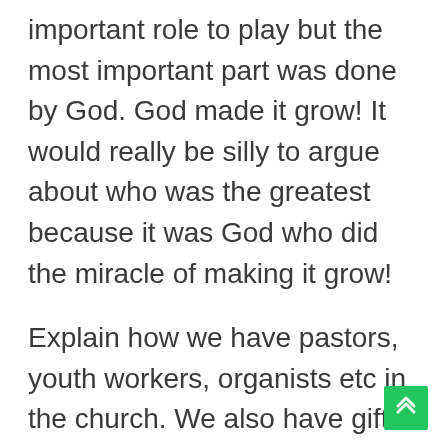important role to play but the most important part was done by God. God made it grow! It would really be silly to argue about who was the greatest because it was God who did the miracle of making it grow!
Explain how we have pastors, youth workers, organists etc in the church. We also have gifts that we can use in building up the church. Everyone has an important role to play. However, God has the most